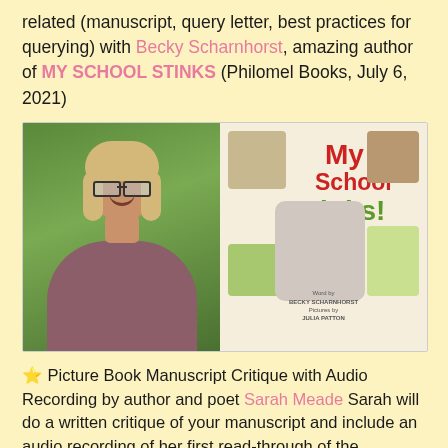related (manuscript, query letter, best practices for querying) with Becky Scharnhorst, amazing author of MY SCHOOL STINKS (Philomel Books, July 6, 2021)
[Figure (photo): Left: headshot of Becky Scharnhorst (woman with glasses, blonde hair, mauve sweater, smiling outdoors). Right: cover of children's book 'My School Stinks!' illustrated with cartoon animals and a child.]
⭐ Picture Book Manuscript Critique with Audio Recording by author and poet Sarah Meade Sarah will do a written critique of your manuscript and include an audio recording of her first read-through of the manuscript. The audio recording is to help the author hear how the story flows and/or where a new reader may stumble or lose direction.